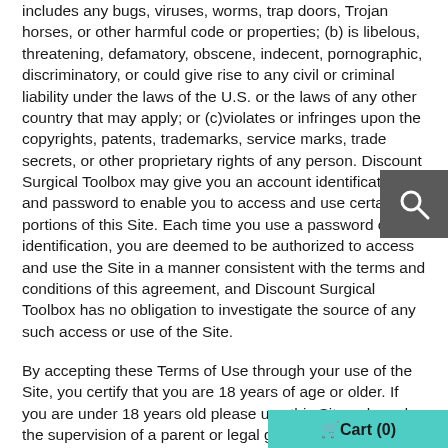includes any bugs, viruses, worms, trap doors, Trojan horses, or other harmful code or properties; (b) is libelous, threatening, defamatory, obscene, indecent, pornographic, discriminatory, or could give rise to any civil or criminal liability under the laws of the U.S. or the laws of any other country that may apply; or (c)violates or infringes upon the copyrights, patents, trademarks, service marks, trade secrets, or other proprietary rights of any person. Discount Surgical Toolbox may give you an account identification and password to enable you to access and use certain portions of this Site. Each time you use a password or identification, you are deemed to be authorized to access and use the Site in a manner consistent with the terms and conditions of this agreement, and Discount Surgical Toolbox has no obligation to investigate the source of any such access or use of the Site.
By accepting these Terms of Use through your use of the Site, you certify that you are 18 years of age or older. If you are under 18 years old please use this Site only under the supervision of a parent or legal guardian. Subject to the terms and conditions of this agreement, hereby grants you a limited, revocable, non-transferable, and non-exclusive license to access and use the Site by displaying it on your Internet